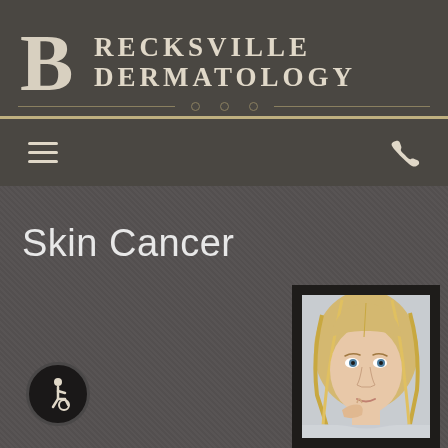Brecksville Dermatology
Skin Cancer
[Figure (photo): Portrait photo of a young blonde woman with blue eyes looking at the camera, set in a dark frame border]
[Figure (logo): Accessibility wheelchair user icon in a circular black badge]